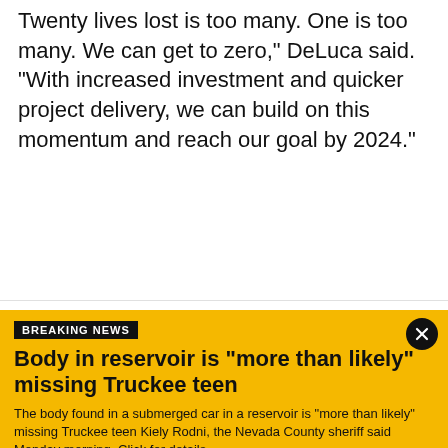Twenty lives lost is too many. One is too many. We can get to zero," DeLuca said. "With increased investment and quicker project delivery, we can build on this momentum and reach our goal by 2024."
PROMOTIONS
Offers from FOX Television stations and our advertisers
BREAKING NEWS
Body in reservoir is "more than likely" missing Truckee teen
The body found in a submerged car in a reservoir is "more than likely" missing Truckee teen Kiely Rodni, the Nevada County sheriff said Monday morning. Click for details.